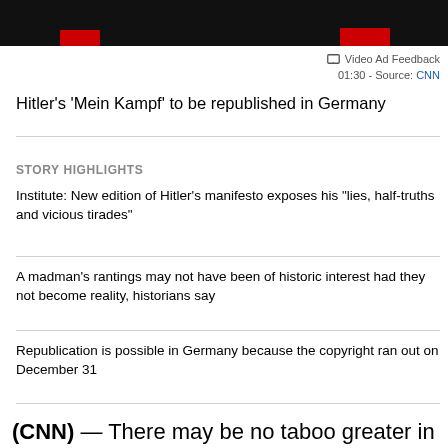[Figure (photo): Dark video thumbnail with red elements visible at bottom]
☐ Video Ad Feedback
01:30  -  Source: CNN
Hitler's 'Mein Kampf' to be republished in Germany
STORY HIGHLIGHTS
Institute: New edition of Hitler's manifesto exposes his "lies, half-truths and vicious tirades"
A madman's rantings may not have been of historic interest had they not become reality, historians say
Republication is possible in Germany because the copyright ran out on December 31
(CNN) — There may be no taboo greater in Germany